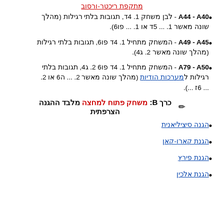מתקפת ריכטר-ורסוב
A44 - A40 - לבן משחק 1. 4ד, תגובות בלתי רגילות (מהלך שונה מאשר 1. ... 5ד או 1. ... פו6).
A49 - A45 - המשחק מתחיל 1. 4ד פו6, תגובות בלתי רגילות (מהלך שונה מאשר 2. ג4).
A79 - A50 - המשחק מתחיל 1. 4ד פו6 2. ג4, תגובות בלתי רגילות למערכות הודיות (מהלך שונה מאשר 2. ... ה6 או 2. ... 6ז).
כרך B: משחק פתוח למחצה מלבד ההגנה הצרפתית
הגנה סיציליאנית
הגנת קארו-קאן
הגנת פירץ
הגנת אלכין